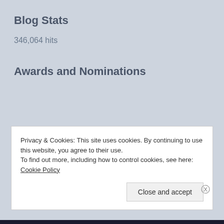Blog Stats
346,064 hits
Awards and Nominations
Privacy & Cookies: This site uses cookies. By continuing to use this website, you agree to their use.
To find out more, including how to control cookies, see here: Cookie Policy
Close and accept